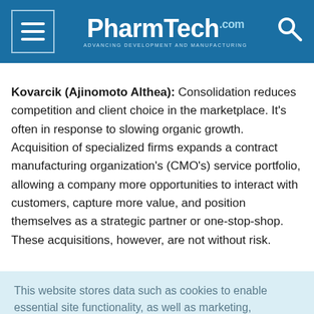PharmTech.com — Advancing Development and Manufacturing
Kovarcik (Ajinomoto Althea): Consolidation reduces competition and client choice in the marketplace. It's often in response to slowing organic growth. Acquisition of specialized firms expands a contract manufacturing organization's (CMO's) service portfolio, allowing a company more opportunities to interact with customers, capture more value, and position themselves as a strategic partner or one-stop-shop. These acquisitions, however, are not without risk.
This website stores data such as cookies to enable essential site functionality, as well as marketing, personalization, and analytics. Cookie Policy
Accept
Deny